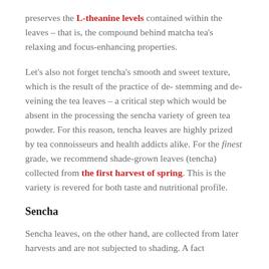preserves the L-theanine levels contained within the leaves – that is, the compound behind matcha tea's relaxing and focus-enhancing properties.
Let's also not forget tencha's smooth and sweet texture, which is the result of the practice of de-stemming and de-veining the tea leaves – a critical step which would be absent in the processing the sencha variety of green tea powder. For this reason, tencha leaves are highly prized by tea connoisseurs and health addicts alike. For the finest grade, we recommend shade-grown leaves (tencha) collected from the first harvest of spring. This is the variety is revered for both taste and nutritional profile.
Sencha
Sencha leaves, on the other hand, are collected from later harvests and are not subjected to shading. A fact which is...